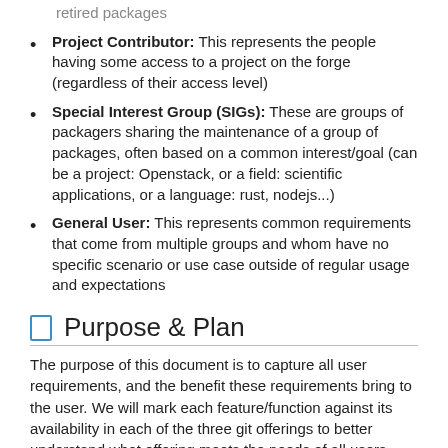retired packages
Project Contributor: This represents the people having some access to a project on the forge (regardless of their access level)
Special Interest Group (SIGs): These are groups of packagers sharing the maintenance of a group of packages, often based on a common interest/goal (can be a project: Openstack, or a field: scientific applications, or a language: rust, nodejs...)
General User: This represents common requirements that come from multiple groups and whom have no specific scenario or use case outside of regular usage and expectations
Purpose & Plan
The purpose of this document is to capture all user requirements, and the benefit these requirements bring to the user. We will mark each feature/function against its availability in each of the three git offerings to better understand what offering meets the needs of all users. Once this service comparison is complete, the results will be sent to